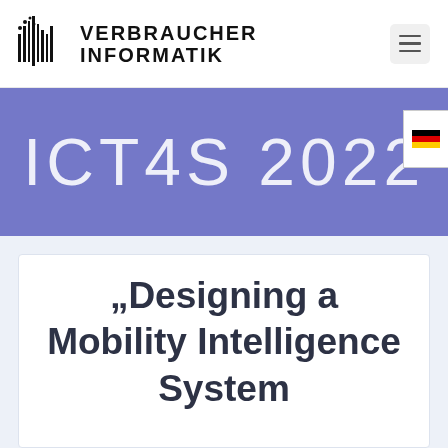[Figure (logo): Verbraucher Informatik logo with vertical bar chart icon and text VERBRAUCHER INFORMATIK]
ICT4S 2022
„Designing a Mobility Intelligence System